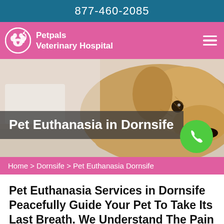877-460-2085
[Figure (logo): Petpals Veterinary Hospital logo with paw print icon and text]
[Figure (photo): Golden retriever dog resting its chin on a surface, hero banner image]
Pet Euthanasia in Dornsife
Home > Dornsife > Pet Euthanasia Dornsife
Pet Euthanasia Services in Dornsife Peacefully Guide Your Pet To Take Its Last Breath. We Understand The Pain